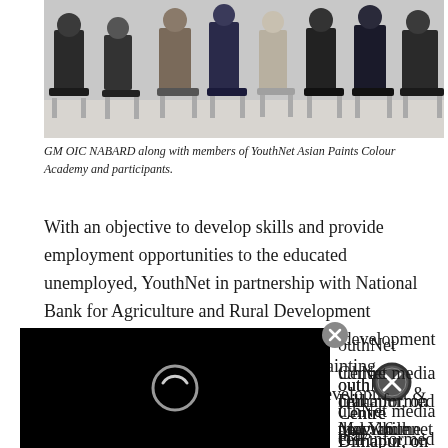[Figure (photo): Group of people sitting on chairs in a row, photo cropped to show lower halves and partial upper bodies]
GM OIC NABARD along with members of YouthNet Asian Paints Colour Academy and participants.
With an objective to develop skills and provide employment opportunities to the educated unemployed, YouthNet in partnership with National Bank for Agriculture and Rural Development (NABARD) launched a month-long skill development training programme in “Construction Painting (Painters)” under NABARD’s “Skill Development & Capacity [building…] YouthNet Centre Dimapur, on May 16. [The Yo]uthNet media cell informed that while [inaugu]ral programme, GM/OIC NABARD [encoura]ged Youthnet for taking up the initiative to [empower] the unemployed youth and job seekers.
[Figure (other): Black advertisement overlay box with a circular loading/play icon, partially covering the article text]
[Figure (other): Close button (X circle) overlay UI element in grey at top of ad]
[Figure (other): Close button (circled X) overlay UI element in dark grey at bottom right of ad]